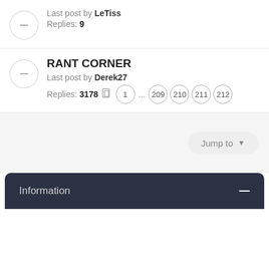Last post by LeTiss
Replies: 9
RANT CORNER
Last post by Derek27
Replies: 3178  1 ... 209 210 211 212
Jump to
Information
[Figure (other): Footer gradient with back-to-top button and social media icon circles]